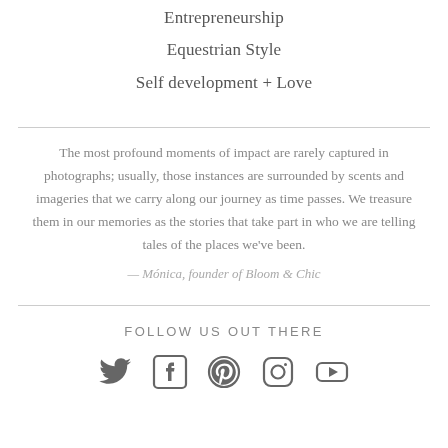Entrepreneurship
Equestrian Style
Self development + Love
The most profound moments of impact are rarely captured in photographs; usually, those instances are surrounded by scents and imageries that we carry along our journey as time passes. We treasure them in our memories as the stories that take part in who we are telling tales of the places we've been.
— Mónica, founder of Bloom & Chic
FOLLOW US OUT THERE
[Figure (infographic): Social media icons: Twitter bird, Facebook f, Pinterest P, Instagram camera, YouTube play button]